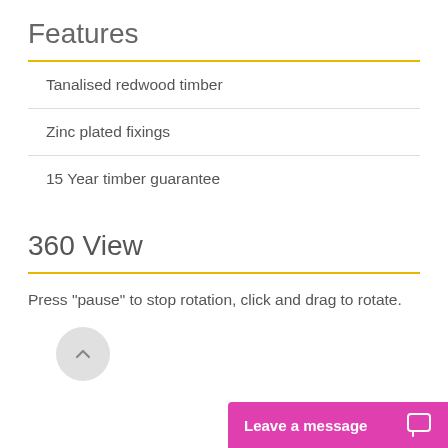Features
Tanalised redwood timber
Zinc plated fixings
15 Year timber guarantee
360 View
Press "pause" to stop rotation, click and drag to rotate.
Leave a message